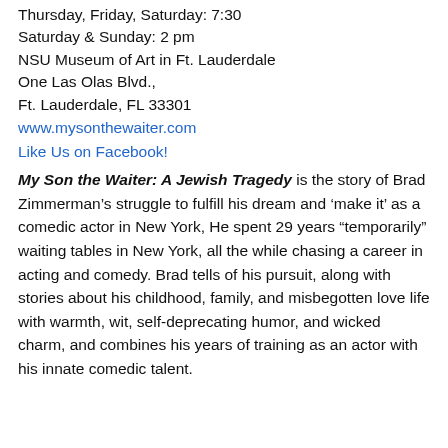Thursday, Friday, Saturday: 7:30
Saturday & Sunday: 2 pm
NSU Museum of Art in Ft. Lauderdale
One Las Olas Blvd.,
Ft. Lauderdale, FL 33301
www.mysonthewaiter.com
Like Us on Facebook!
My Son the Waiter: A Jewish Tragedy is the story of Brad Zimmerman’s struggle to fulfill his dream and ‘make it’ as a comedic actor in New York, He spent 29 years “temporarily” waiting tables in New York, all the while chasing a career in acting and comedy. Brad tells of his pursuit, along with stories about his childhood, family, and misbegotten love life with warmth, wit, self-deprecating humor, and wicked charm, and combines his years of training as an actor with his innate comedic talent.